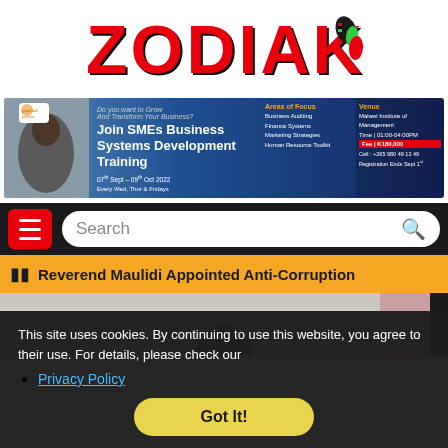[Figure (logo): Zodiak logo in red bold lettering with a bird/map graphic on the right side]
[Figure (infographic): SMEs Business Systems Development Training advertisement banner. Join SMEs Business Systems Development Training. Do you want to Grow And Transform Your Business? Areas of Focus: Business Auditing, Finance Systems, Marketing Strategies, Human Resource Toolkit. 07th Sept - 09th Oct 2022 Every Wed, Thur & Fridays. Venue: Malawi Institute of Management. Time: 01:00-04:00PM. Fee: K180,000. Cell: +265 980 49 12 49. Registration Ends Sept 1st.]
[Figure (screenshot): Navigation bar with hamburger menu (red button) on the left and a search box on the right with magnifier icon on dark background]
[Figure (screenshot): Orange ticker bar showing text: Reverend Maulidi Appointed Anti-Corruption]
[Figure (photo): Partial article photo showing a person's head in the lower center portion against a light background]
This site uses cookies. By continuing to use this website, you agree to their use. For details, please check our
Privacy Policy
[Figure (screenshot): Got It! button in yellow/gold color on dark background]